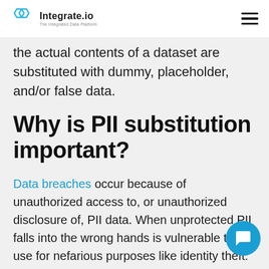Integrate.io — The Integrated Data Platform
the actual contents of a dataset are substituted with dummy, placeholder, and/or false data.
Why is PII substitution important?
Data breaches occur because of unauthorized access to, or unauthorized disclosure of, PII data. When unprotected PII falls into the wrong hands is vulnerable to use for nefarious purposes like identity theft. The the...